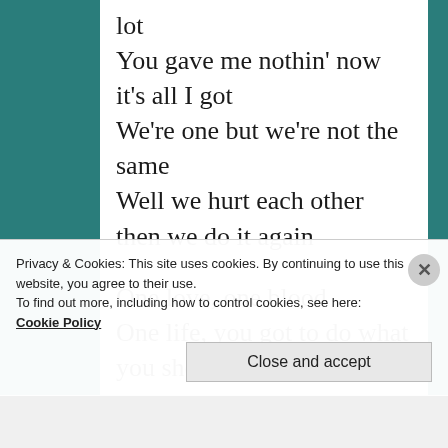lot
You gave me nothin' now it's all I got
We're one but we're not the same
Well we hurt each other then we do it again

One love, one blood
One life, you got to do what you should
Privacy & Cookies: This site uses cookies. By continuing to use this website, you agree to their use.
To find out more, including how to control cookies, see here:
Cookie Policy
Close and accept